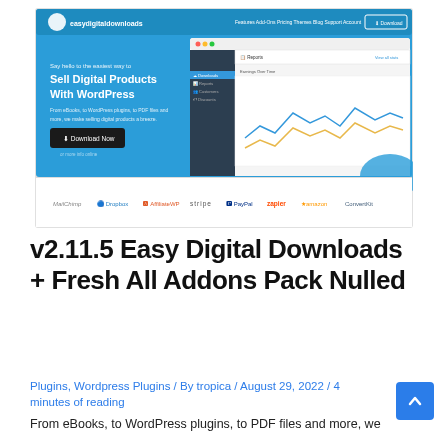[Figure (screenshot): Easy Digital Downloads website homepage screenshot showing blue header with navigation, headline 'Sell Digital Products With WordPress', Download Now button, dashboard UI screenshot, and partner logos (MailChimp, Dropbox, AffiliateWP, Stripe, PayPal, Zapier, Amazon, ConvertKit)]
v2.11.5 Easy Digital Downloads + Fresh All Addons Pack Nulled
Plugins, Wordpress Plugins / By tropica / August 29, 2022 / 4 minutes of reading
From eBooks, to WordPress plugins, to PDF files and more, we